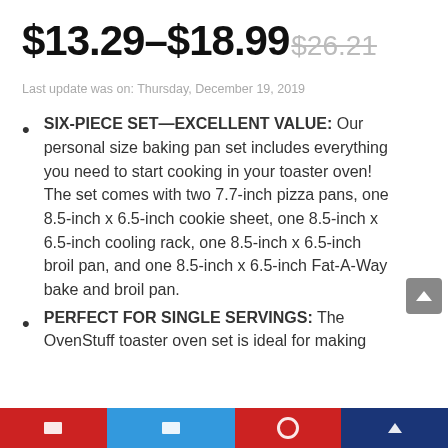$13.29–$18.99 $26.21
Last update was on: Thursday, December 19, 2019
SIX-PIECE SET—EXCELLENT VALUE: Our personal size baking pan set includes everything you need to start cooking in your toaster oven! The set comes with two 7.7-inch pizza pans, one 8.5-inch x 6.5-inch cookie sheet, one 8.5-inch x 6.5-inch cooling rack, one 8.5-inch x 6.5-inch broil pan, and one 8.5-inch x 6.5-inch Fat-A-Way bake and broil pan.
PERFECT FOR SINGLE SERVINGS: The OvenStuff toaster oven set is ideal for making